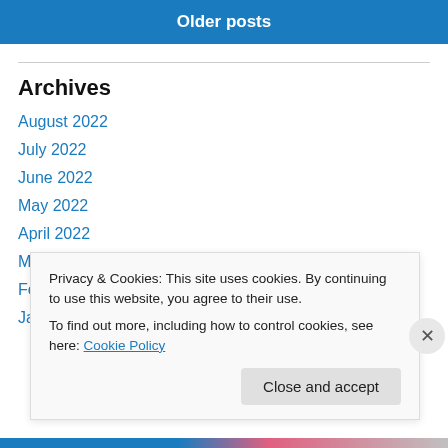Older posts
Archives
August 2022
July 2022
June 2022
May 2022
April 2022
March 2022
February 2022
January 2022
Privacy & Cookies: This site uses cookies. By continuing to use this website, you agree to their use. To find out more, including how to control cookies, see here: Cookie Policy
Close and accept